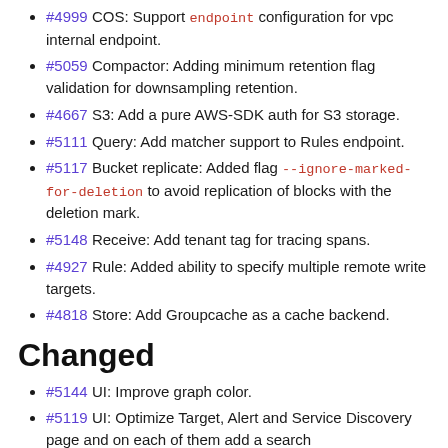#4999 COS: Support endpoint configuration for vpc internal endpoint.
#5059 Compactor: Adding minimum retention flag validation for downsampling retention.
#4667 S3: Add a pure AWS-SDK auth for S3 storage.
#5111 Query: Add matcher support to Rules endpoint.
#5117 Bucket replicate: Added flag --ignore-marked-for-deletion to avoid replication of blocks with the deletion mark.
#5148 Receive: Add tenant tag for tracing spans.
#4927 Rule: Added ability to specify multiple remote write targets.
#4818 Store: Add Groupcache as a cache backend.
Changed
#5144 UI: Improve graph color.
#5119 UI: Optimize Target, Alert and Service Discovery page and on each of them add a search